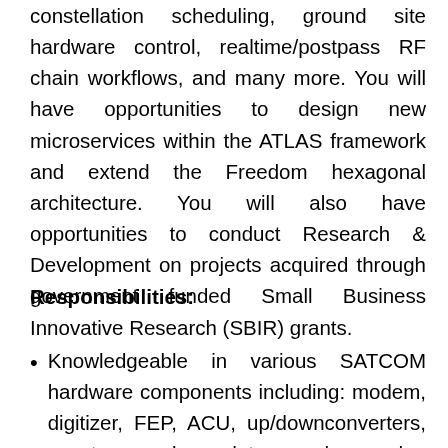constellation scheduling, ground site hardware control, realtime/postpass RF chain workflows, and many more. You will have opportunities to design new microservices within the ATLAS framework and extend the Freedom hexagonal architecture. You will also have opportunities to conduct Research & Development on projects acquired through government funded Small Business Innovative Research (SBIR) grants.
Responsibilities:
Knowledgeable in various SATCOM hardware components including: modem, digitizer, FEP, ACU, up/downconverters, spectrum analyzer, data recorders, and